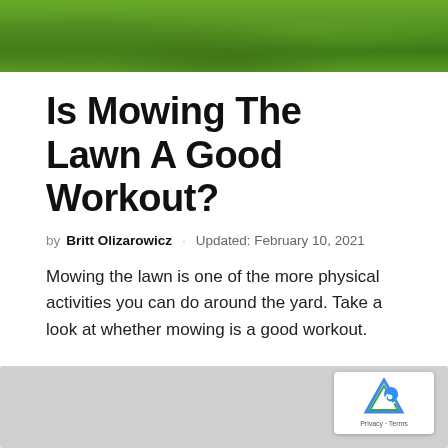[Figure (photo): Grass/lawn close-up photo at the top of the page]
Is Mowing The Lawn A Good Workout?
by Britt Olizarowicz · Updated: February 10, 2021
Mowing the lawn is one of the more physical activities you can do around the yard. Take a look at whether mowing is a good workout.
R — RESOURCES
[Figure (other): Gray advertisement block with reCAPTCHA badge (Privacy · Terms)]